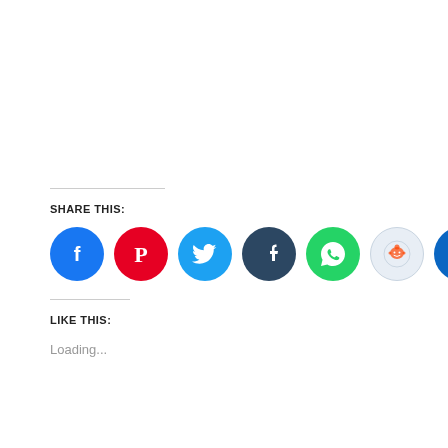SHARE THIS:
[Figure (infographic): Row of 7 social media share button circles: Facebook (blue), Pinterest (red), Twitter (cyan/blue), Tumblr (dark navy), WhatsApp (green), Reddit (light blue/grey), LinkedIn (blue)]
LIKE THIS:
Loading...